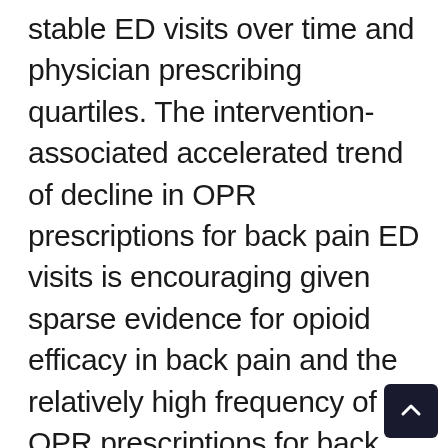stable ED visits over time and physician prescribing quartiles. The intervention-associated accelerated trend of decline in OPR prescriptions for back pain ED visits is encouraging given sparse evidence for opioid efficacy in back pain and the relatively high frequency of OPR prescriptions for back pain ED visits—up to 50% in some settings.29,36-38 High vs low OPR–prescribing EPs were closer at baseline (19.4% vs 21.8%) relative to similar studies describing 3-fold differences between high- and low-frequency EP prescribers, and we observed a drop in prescribing associated with the intervention for both groups.7,16 The varied subgroup findings suggest that the era of a one-size-fits-all approach to opioid prescribing is perhaps about to